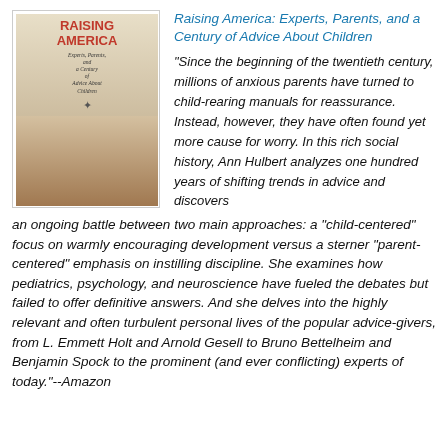[Figure (illustration): Book cover of 'Raising America: Experts, Parents, and a Century of Advice About Children' by Ann Hulbert, showing a young child standing, with the title in red text at the top.]
Raising America: Experts, Parents, and a Century of Advice About Children
"Since the beginning of the twentieth century, millions of anxious parents have turned to child-rearing manuals for reassurance. Instead, however, they have often found yet more cause for worry. In this rich social history, Ann Hulbert analyzes one hundred years of shifting trends in advice and discovers an ongoing battle between two main approaches: a “child-centered” focus on warmly encouraging development versus a sterner “parent-centered” emphasis on instilling discipline. She examines how pediatrics, psychology, and neuroscience have fueled the debates but failed to offer definitive answers. And she delves into the highly relevant and often turbulent personal lives of the popular advice-givers, from L. Emmett Holt and Arnold Gesell to Bruno Bettelheim and Benjamin Spock to the prominent (and ever conflicting) experts of today."--Amazon